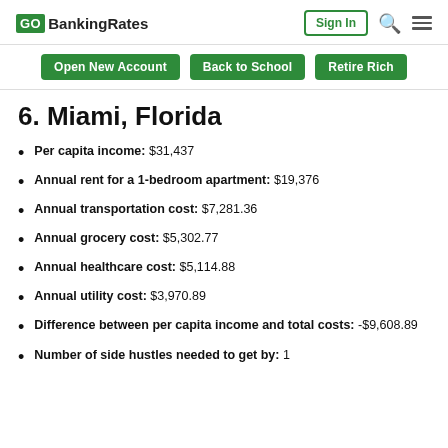GOBankingRates | Sign In
6. Miami, Florida
Per capita income: $31,437
Annual rent for a 1-bedroom apartment: $19,376
Annual transportation cost: $7,281.36
Annual grocery cost: $5,302.77
Annual healthcare cost: $5,114.88
Annual utility cost: $3,970.89
Difference between per capita income and total costs: -$9,608.89
Number of side hustles needed to get by: 1